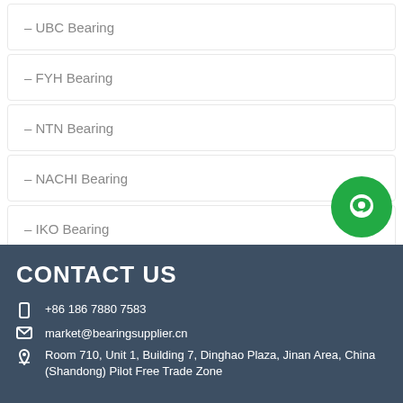– UBC Bearing
– FYH Bearing
– NTN Bearing
– NACHI Bearing
– IKO Bearing
CONTACT US
+86 186 7880 7583
market@bearingsupplier.cn
Room 710, Unit 1, Building 7, Dinghao Plaza, Jinan Area, China (Shandong) Pilot Free Trade Zone